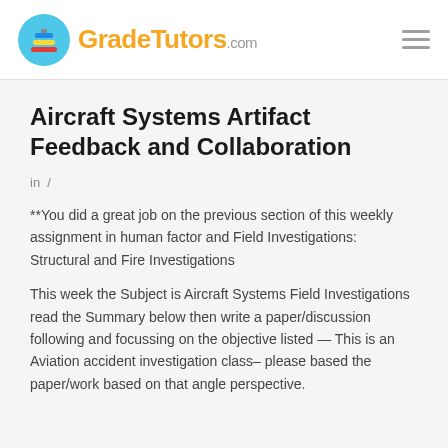GradeTutors.com
Aircraft Systems Artifact Feedback and Collaboration
in  /
**You did a great job on the previous section of this weekly assignment in human factor and Field Investigations: Structural and Fire Investigations
This week the Subject is Aircraft Systems Field Investigations read the Summary below then write a paper/discussion following and focussing on the objective listed — This is an Aviation accident investigation class– please based the paper/work based on that angle perspective.